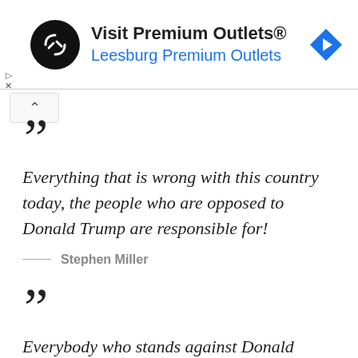[Figure (infographic): Advertisement banner for Visit Premium Outlets® / Leesburg Premium Outlets with logo and navigation icon]
"Everything that is wrong with this country today, the people who are opposed to Donald Trump are responsible for!"
Stephen Miller
"Everybody who stands against Donald Trump are the people who have been running the country into the ground, who have been